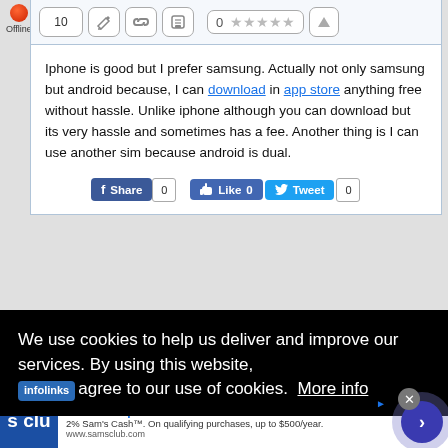[Figure (screenshot): Offline status indicator with orange dot and 'Offline' label]
[Figure (screenshot): Toolbar with edit count (10), pencil icon, link icon, print icon, star rating (0 stars), and upvote button]
Iphone is good but I prefer samsung. Actually not only samsung but android because, I can download in app store anything free without hassle. Unlike iphone although you can download but its very hassle and sometimes has a fee. Another thing is I can use another sim because android is dual.
[Figure (screenshot): Social sharing buttons: Facebook Share (0), Facebook Like (0), Twitter Tweet (0)]
We use cookies to help us deliver and improve our services. By using this website, agree to our use of cookies.  More info
[Figure (screenshot): Advertisement for Sam's Club Plus membership: 'Get all the perks with Plus', '2% Sam's Cash. On qualifying purchases, up to $500/year.', www.samsclub.com]